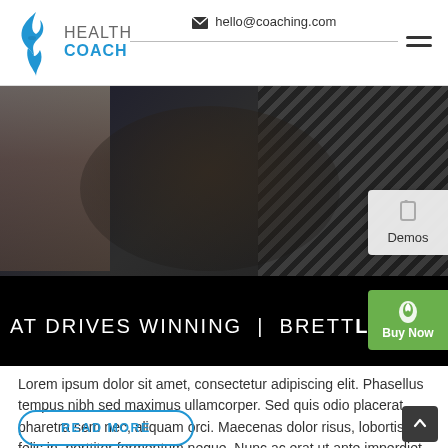hello@coaching.com
[Figure (logo): Health Coach logo with blue flame/face icon and text HEALTH COACH]
[Figure (screenshot): Hero video still showing a dark figure with text: AT DRIVES WINNING | BRETTLEDBE with Demos and Buy Now sidebar tabs]
Lorem ipsum dolor sit amet, consectetur adipiscing elit. Phasellus tempus nibh sed maximus ullamcorper. Sed quis odio placerat, pharetra sem nec, aliquam orci. Maecenas dolor risus, lobortis in felis in, porttitor fermentum neque. Nunc ac erat ut ante imperdiet mollis ac sed libero.
READ MORE